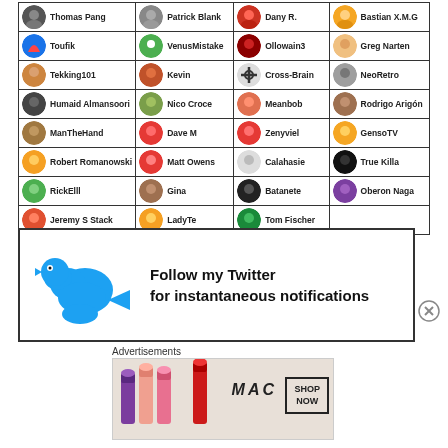| Thomas Pang | Patrick Blank | Dany R. | Bastian X.M.G |
| Toufik | VenusMistake | Ollowain3 | Greg Narten |
| Tekking101 | Kevin | Cross-Brain | NeoRetro |
| Humaid Almansoori | Nico Croce | Meanbob | Rodrigo Arigón |
| ManTheHand | Dave M | Zenyviel | GensoTV |
| Robert Romanowski | Matt Owens | Calahasie | True Killa |
| RickElll | Gina | Batanete | Oberon Naga |
| Jeremy S Stack | LadyTe | Tom Fischer |  |
[Figure (infographic): Follow my Twitter for instantaneous notifications banner with blue Twitter bird logo]
Advertisements
[Figure (photo): MAC cosmetics advertisement showing lipsticks with SHOP NOW button]